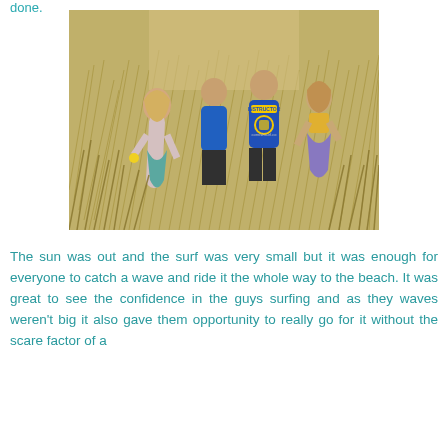done.
[Figure (photo): Four people walking away through tall beach grass dunes, one wearing a blue 'INSTRUCTOR' surf jersey with a logo on the back.]
The sun was out and the surf was very small but it was enough for everyone to catch a wave and ride it the whole way to the beach. It was great to see the confidence in the guys surfing and as they waves weren't big it also gave them opportunity to really go for it without the scare factor of a